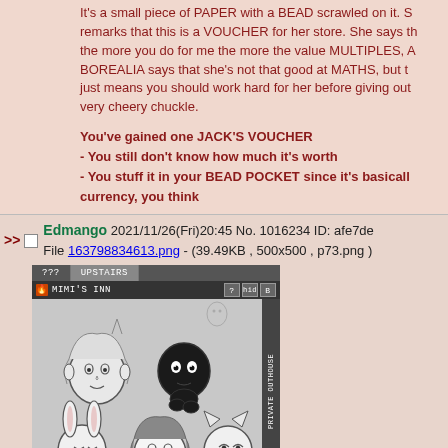It's a small piece of PAPER with a BEAD scrawled on it. She remarks that this is a VOUCHER for her store. She says that the more you do for me the more the value MULTIPLES, A BOREALIA says that she's not that good at MATHS, but that just means you should work hard for her before giving out a very cheery chuckle.
You've gained one JACK'S VOUCHER - You still don't know how much it's worth - You stuff it in your BEAD POCKET since it's basically a currency, you think
>> Edmango 2021/11/26(Fri)20:45 No. 1016234 ID: afe7de File 163798834613.png - (39.49KB , 500x500 , p73.png )
[Figure (screenshot): Game UI screenshot showing 'MIMI'S INN' location screen with tabs '???' and 'UPSTAIRS', a side panel labeled 'PRIVATE OUTHOUSE', several anime-style character face drawings on a gray background, and a bottom bar labeled 'TOWN SQUARE']